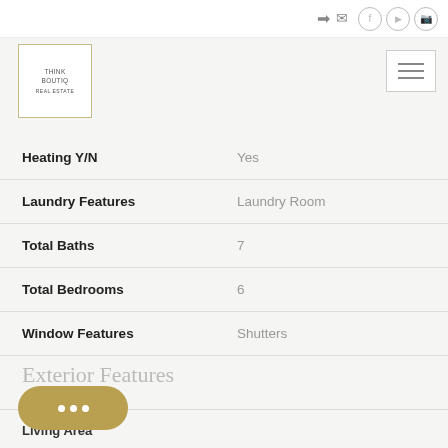[Figure (logo): Think Boutiq Real Estate logo in a gold-bordered square box]
| Property Feature | Value |
| --- | --- |
| Heating Y/N | Yes |
| Laundry Features | Laundry Room |
| Total Baths | 7 |
| Total Bedrooms | 6 |
| Window Features | Shutters |
Exterior Features
Living Area